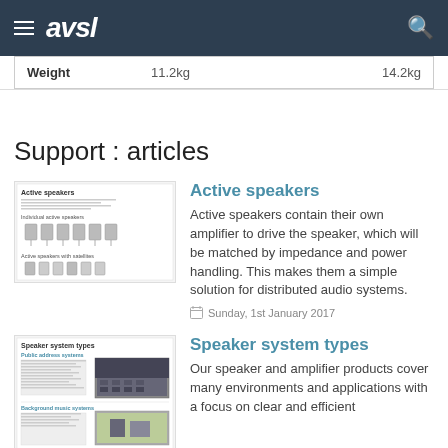avsl
| Weight | 11.2kg | 14.2kg |
| --- | --- | --- |
Support : articles
[Figure (screenshot): Thumbnail of Active speakers article showing speaker diagrams]
Active speakers
Active speakers contain their own amplifier to drive the speaker, which will be matched by impedance and power handling. This makes them a simple solution for distributed audio systems.
Sunday, 1st January 2017
[Figure (screenshot): Thumbnail of Speaker system types article showing public address and background music systems]
Speaker system types
Our speaker and amplifier products cover many environments and applications with a focus on clear and efficient